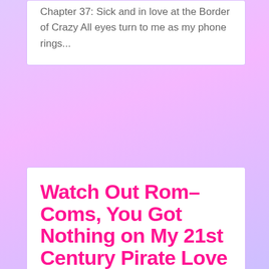Chapter 37: Sick and in love at the Border of Crazy All eyes turn to me as my phone rings...
Watch Out Rom-Coms, You Got Nothing on My 21st Century Pirate Love Story
February 6, 2020
Chapter 36: Pizza Delivery at the